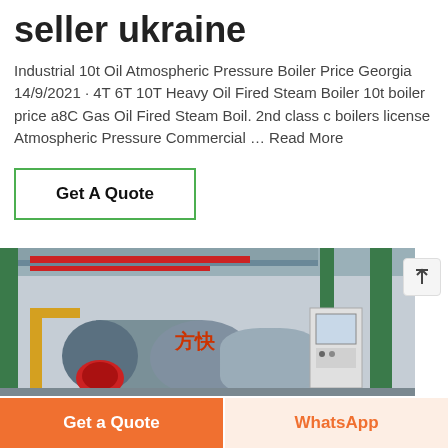seller ukraine
Industrial 10t Oil Atmospheric Pressure Boiler Price Georgia 14/9/2021 · 4T 6T 10T Heavy Oil Fired Steam Boiler 10t boiler price a8C Gas Oil Fired Steam Boil. 2nd class c boilers license Atmospheric Pressure Commercial … Read More
Get A Quote
[Figure (photo): Industrial boiler room with large cylindrical steam boilers, red and yellow piping, green structural columns, and Chinese text on equipment.]
Get a Quote
WhatsApp